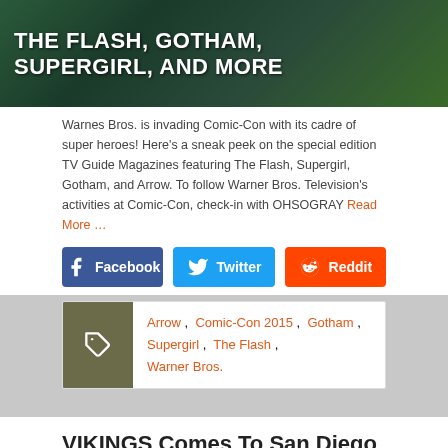[Figure (photo): Dark green-toned promotional image for DC TV shows with white bold text: THE FLASH, GOTHAM, SUPERGIRL, AND MORE]
Warnes Bros. is invading Comic-Con with its cadre of super heroes! Here's a sneak peek on the special edition TV Guide Magazines featuring The Flash, Supergirl, Gotham, and Arrow. To follow Warner Bros. Television's activities at Comic-Con, check-in with OHSOGRAY Read More …
[Figure (infographic): Three social share buttons: Facebook (blue), Twitter (cyan), Reddit (orange-red)]
Arrow , Comic-Con 2015 , Gotham , Supergirl , The Flash , Warner Bros.
VIKINGS Comes To San Diego Comic-Con!
June 25, 2015  OHSOGRAY  Uncategorized
[Figure (photo): Light blue sky/clouds background image at bottom of page]